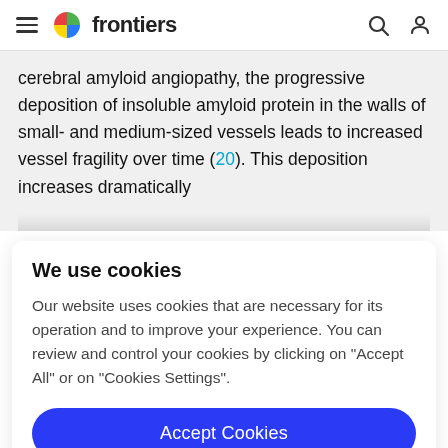frontiers
cerebral amyloid angiopathy, the progressive deposition of insoluble amyloid protein in the walls of small- and medium-sized vessels leads to increased vessel fragility over time (20). This deposition increases dramatically
We use cookies
Our website uses cookies that are necessary for its operation and to improve your experience. You can review and control your cookies by clicking on "Accept All" or on "Cookies Settings".
Accept Cookies
Cookies Settings